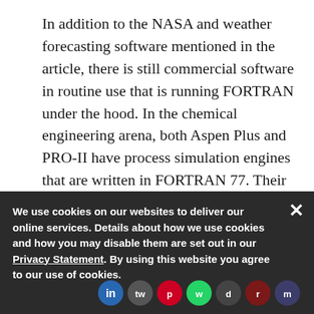In addition to the NASA and weather forecasting software mentioned in the article, there is still commercial software in routine use that is running FORTRAN under the hood. In the chemical engineering arena, both Aspen Plus and PRO-II have process simulation engines that are written in FORTRAN 77. Their GUI's are written in more modern languages (FORTRAN is not so good at event-driven programming :) but the GUI then submits the problem to an engine
We use cookies on our websites to deliver our online services. Details about how we use cookies and how you may disable them are set out in our Privacy Statement. By using this website you agree to our use of cookies.
As with NA